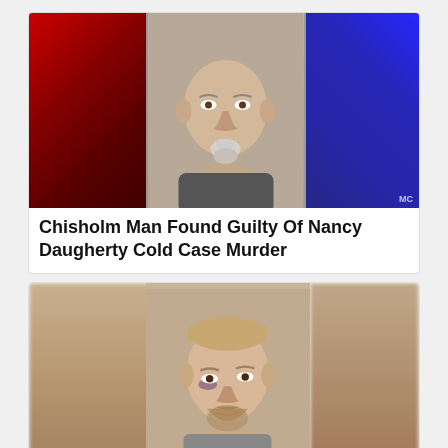[Figure (photo): News article card with composite image: red police lights on the left, a mugshot of a middle-aged bald heavyset man with a white goatee wearing a gray shirt in the center, and blue police lights on the right.]
Chisholm Man Found Guilty Of Nancy Daugherty Cold Case Murder
[Figure (photo): Second news article card showing a mugshot of a younger man with short blond hair and a beard, with a bruise under his left eye. Blurred background panels on left and right.]